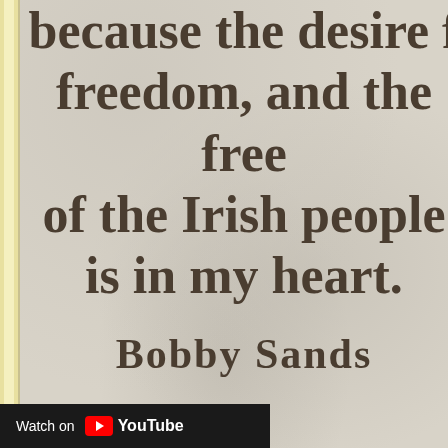because the desire for freedom, and the freedom of the Irish people is in my heart.
Bobby Sands
[Figure (screenshot): YouTube 'Watch on' footer bar at bottom of page]